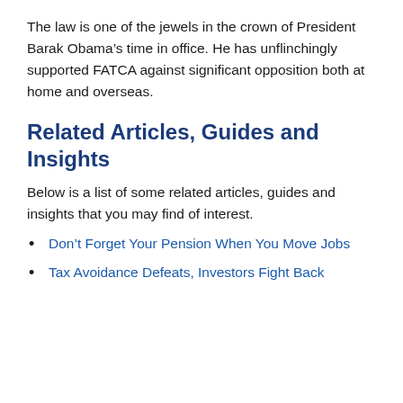The law is one of the jewels in the crown of President Barak Obama’s time in office. He has unflinchingly supported FATCA against significant opposition both at home and overseas.
Related Articles, Guides and Insights
Below is a list of some related articles, guides and insights that you may find of interest.
Don’t Forget Your Pension When You Move Jobs
Tax Avoidance Defeats, Investors Fight Back